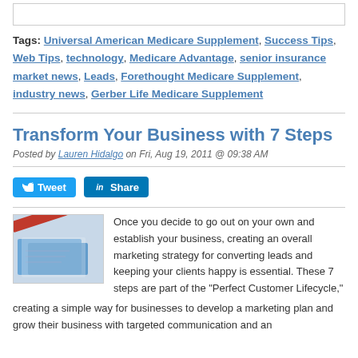Tags: Universal American Medicare Supplement, Success Tips, Web Tips, technology, Medicare Advantage, senior insurance market news, Leads, Forethought Medicare Supplement, industry news, Gerber Life Medicare Supplement
Transform Your Business with 7 Steps
Posted by Lauren Hidalgo on Fri, Aug 19, 2011 @ 09:38 AM
[Figure (photo): Photo of a red pencil and blue folder/documents, suggesting business planning or marketing materials]
Once you decide to go out on your own and establish your business, creating an overall marketing strategy for converting leads and keeping your clients happy is essential. These 7 steps are part of the "Perfect Customer Lifecycle," creating a simple way for businesses to develop a marketing plan and grow their business with targeted communication and an